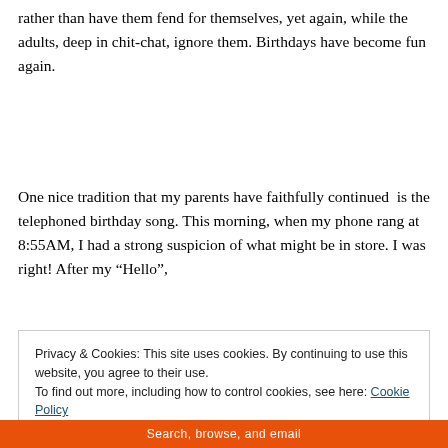rather than have them fend for themselves, yet again, while the adults, deep in chit-chat, ignore them. Birthdays have become fun again.
One nice tradition that my parents have faithfully continued  is the telephoned birthday song. This morning, when my phone rang at 8:55AM, I had a strong suspicion of what might be in store. I was right! After my “Hello”,
Privacy & Cookies: This site uses cookies. By continuing to use this website, you agree to their use.
To find out more, including how to control cookies, see here: Cookie Policy
Close and accept